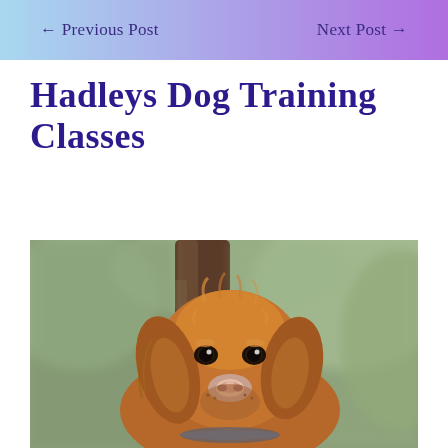← Previous Post   Next Post →
Hadleys Dog Training Classes
[Figure (photo): Close-up photograph of a golden-brown Nova Scotia Duck Tolling Retriever puppy looking at the camera with floppy ears, set against a blurred forest background with brown tree trunk and green foliage.]